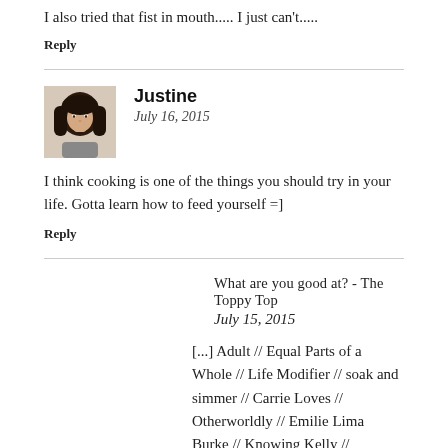I also tried that fist in mouth..... I just can't.....
Reply
Justine
July 16, 2015
I think cooking is one of the things you should try in your life. Gotta learn how to feed yourself =]
Reply
What are you good at? - The Toppy Top
July 15, 2015
[...] Adult // Equal Parts of a Whole // Life Modifier // soak and simmer // Carrie Loves // Otherworldly // Emilie Lima Burke // Knowing Kelly // Something Good // PreppyPanache // Cassandra [...]